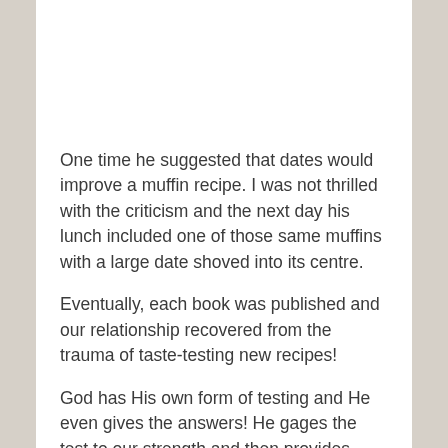One time he suggested that dates would improve a muffin recipe. I was not thrilled with the criticism and the next day his lunch included one of those same muffins with a large date shoved into its centre.
Eventually, each book was published and our relationship recovered from the trauma of taste-testing new recipes!
God has His own form of testing and He even gives the answers! He gages the test to our strength and then provides endurance and a way